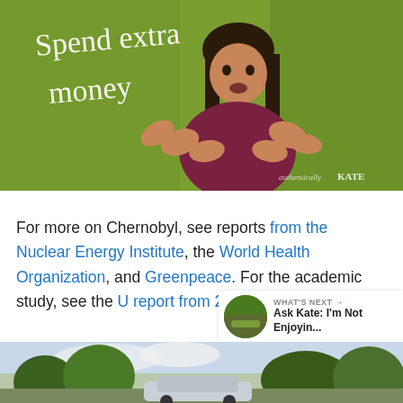[Figure (photo): Woman in maroon t-shirt gesturing with hands against a green background with cursive text reading 'Spend extra money'. Watermark reads 'authentically KATE'.]
For more on Chernobyl, see reports from the Nuclear Energy Institute, the World Health Organization, and Greenpeace. For the academic study, see the U report from 2011.
[Figure (photo): Bottom partial image showing trees and a car outdoors under a cloudy sky.]